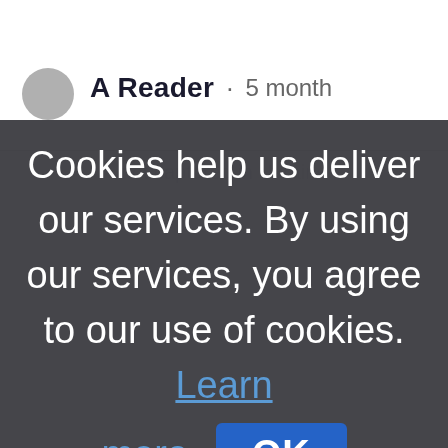A Reader · 5 month
Cookies help us deliver our services. By using our services, you agree to our use of cookies. Learn more
OK